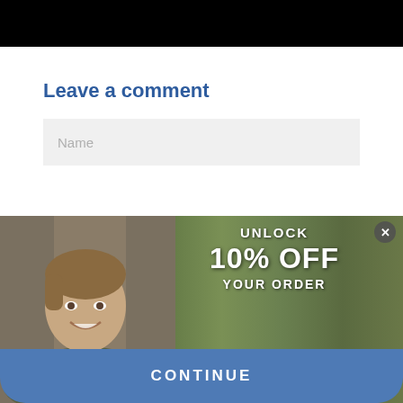Leave a comment
Name
[Figure (screenshot): Popup overlay showing a smiling man outdoors with trees in background, with promotional text 'UNLOCK 10% OFF YOUR ORDER', an email address input field, and a CONTINUE button]
UNLOCK
10% OFF
YOUR ORDER
EMAIL ADDRESS
CONTINUE